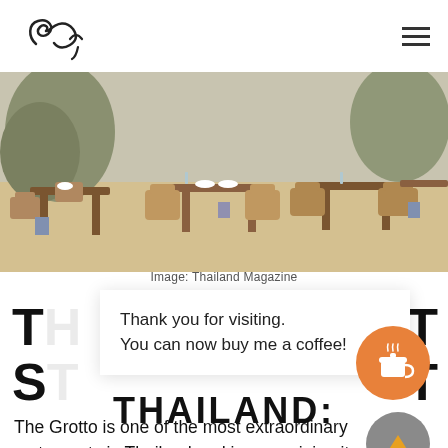Logo / Navigation bar with hamburger menu
[Figure (photo): Outdoor beach restaurant with wicker chairs and wooden tables set on sandy ground, surrounded by tropical trees. Tables are set with white plates and glasses.]
Image: Thailand Magazine
Thank you for visiting. You can now buy me a coffee!
THE MOST STUNNING RESTAURANTS IN THAILAND:
The Grotto is one of the most extraordinary restaurants in Thailand and in our opinion it must be